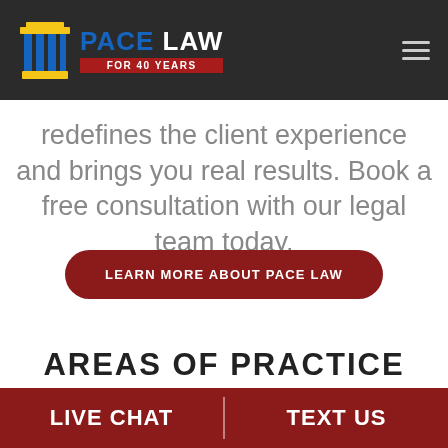[Figure (logo): Pace Law logo with blue and yellow column icon, white bold text 'PACE LAW', red banner 'FOR 40 YEARS']
redefines the client experience and brings you real results. Book a free consultation with our legal team today.
LEARN MORE ABOUT PACE LAW
AREAS OF PRACTICE
LIVE CHAT
TEXT US